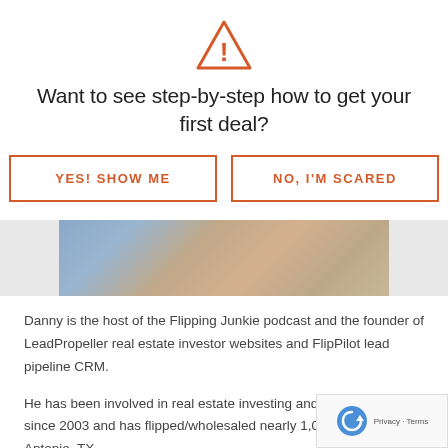[Figure (illustration): Warning triangle icon with exclamation mark, orange outline]
Want to see step-by-step how to get your first deal?
YES! SHOW ME
NO, I'M SCARED
[Figure (photo): Partial photo of a person, cropped, showing neck and blue clothing]
Danny is the host of the Flipping Junkie podcast and the founder of LeadPropeller real estate investor websites and FlipPilot lead pipeline CRM.
He has been involved in real estate investing and house flipping since 2003 and has flipped/wholesaled nearly 1,000 houses in San Antonio, TX.